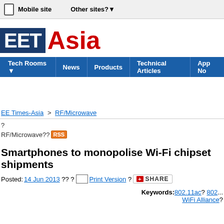Mobile site   Other sites?
[Figure (logo): EETimes Asia logo — EET in white on dark blue box, Asia in red text]
Tech Rooms | News | Products | Technical Articles | App No
EE Times-Asia > RF/Microwave
? RF/Microwave?? RSS
Smartphones to monopolise Wi-Fi chipset shipments
Posted: 14 Jun 2013 ?? ? Print Version ? SHARE
Keywords: 802.11ac? 802... WiFi Alliance?